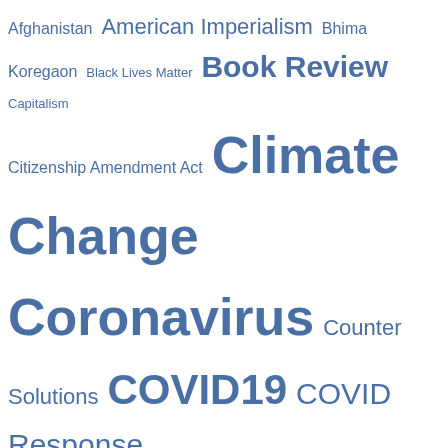[Figure (other): Tag cloud / word cloud featuring topics such as Afghanistan, American Imperialism, Bhima Koregaon, Black Lives Matter, Book Review, Capitalism, Citizenship Amendment Act, Climate Change, Coronavirus, Counter Solutions, COVID19, COVID Response Watch, COVID Vaccine, CRW Reportage, Dakota Access Pipeline, Demonetisation, Donald Trump, Education, Environment, Farmers Agitation, Farm Reform Laws, Film Review, Gaza, Global Warming, Health, Hindutva, Human Rights, Iran, Israel, Julian Assange, Kashmir, Life, Nuclear, Palestine, Poetry — with varying font sizes indicating frequency.]